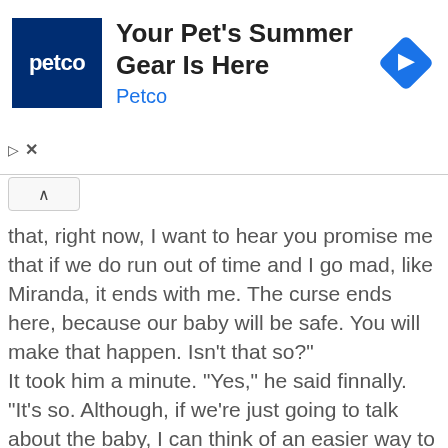[Figure (screenshot): Petco advertisement banner with blue square logo showing 'petco' text, headline 'Your Pet's Summer Gear Is Here', subtitle 'Petco' in blue, and a blue diamond navigation icon on the right. Ad controls (play and close X) appear below the ad.]
that, right now, I want to hear you promise me that if we do run out of time and I go mad, like Miranda, it ends with me. The curse ends here, because our baby will be safe. You will make that happen. Isn't that so?" It took him a minute. "Yes," he said finnally. "It's so. Although, if we're just going to talk about the baby, I can think of an easier way to save her." Oh? What?" I'd just lock her up from her sixteenth birthday on." Lucy didn't laugh. "Don't think I haven't thought of that too, love. but here's the thing. That parents try that in all the fairy tales. It never works. — Nancy Werlin